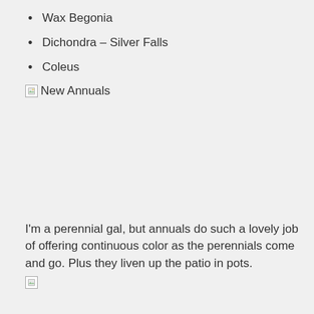Wax Begonia
Dichondra – Silver Falls
Coleus
New Annuals
I'm a perennial gal, but annuals do such a lovely job of offering continuous color as the perennials come and go. Plus they liven up the patio in pots.